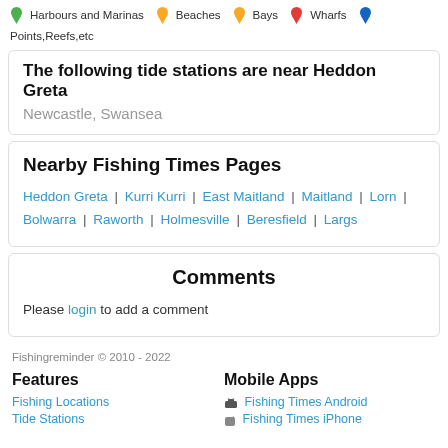[Figure (infographic): Map legend showing colored pin icons for Harbours and Marinas (green), Beaches (yellow), Bays (yellow), Wharfs (red), Points,Reefs,etc (blue)]
The following tide stations are near Heddon Greta
Newcastle, Swansea
Nearby Fishing Times Pages
Heddon Greta | Kurri Kurri | East Maitland | Maitland | Lorn | Bolwarra | Raworth | Holmesville | Beresfield | Largs
Comments
Please login to add a comment
Fishingreminder © 2010 - 2022
Features
Mobile Apps
Fishing Locations
Tide Stations
Fishing Times Android
Fishing Times iPhone